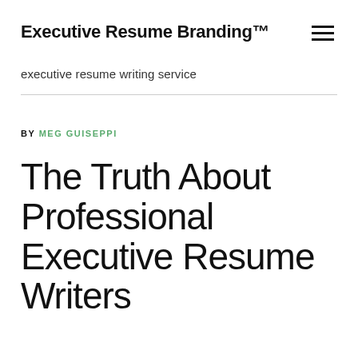Executive Resume Branding™
executive resume writing service
BY MEG GUISEPPI
The Truth About Professional Executive Resume Writers